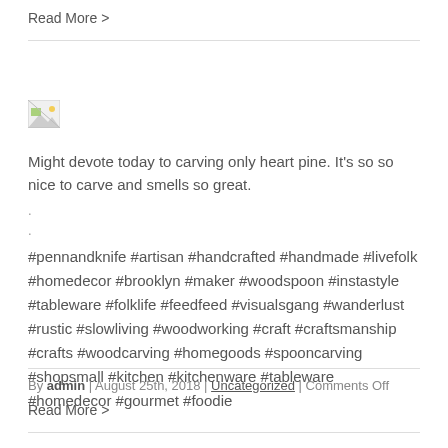Read More >
[Figure (photo): Broken image placeholder]
Might devote today to carving only heart pine. It's so so nice to carve and smells so great.
.
.
#pennandknife #artisan #handcrafted #handmade #livefolk #homedecor #brooklyn #maker #woodspoon #instastyle #tableware #folklife #feedfeed #visualsgang #wanderlust #rustic #slowliving #woodworking #craft #craftsmanship #crafts #woodcarving #homegoods #spooncarving #shopsmall #kitchen #kitchenware #tableware #homedecor #gourmet #foodie
By admin | August 25th, 2018 | Uncategorized | Comments Off
Read More >